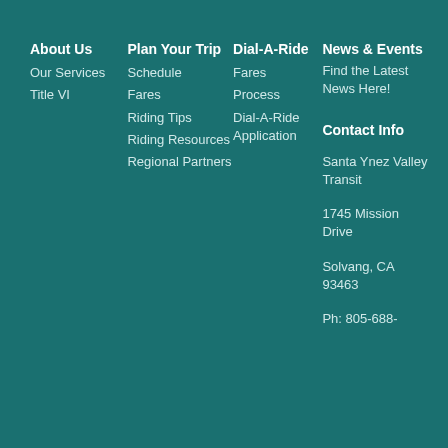About Us
Our Services
Title VI
Plan Your Trip
Schedule
Fares
Riding Tips
Riding Resources
Regional Partners
Dial-A-Ride
Fares
Process
Dial-A-Ride Application
News & Events
Find the Latest News Here!
Contact Info
Santa Ynez Valley Transit
1745 Mission Drive
Solvang, CA 93463
Ph: 805-688-